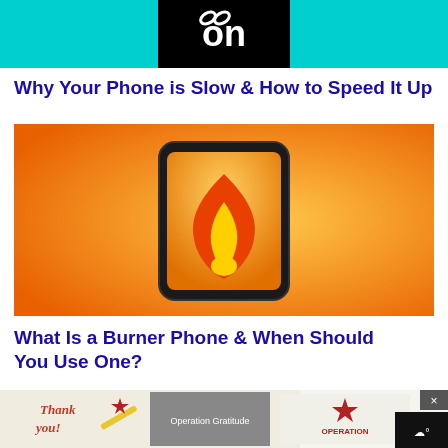[Figure (screenshot): Top banner image with cyan/turquoise background and a black rectangle in the center containing a white stylized 'on' logo with a link/chain icon]
Why Your Phone is Slow & How to Speed It Up
[Figure (illustration): Illustration of a smartphone with a dark frame displayed against an orange-to-yellow gradient background. The phone screen shows a flame icon (orange and yellow fire) on an orange background, suggesting the Burner app or similar.]
What Is a Burner Phone & When Should You Use One?
[Figure (screenshot): Advertisement banner at the bottom: Operation Gratitude ad showing firefighters and a 'Thank you!' handwritten note graphic with a red, white and blue star logo.]